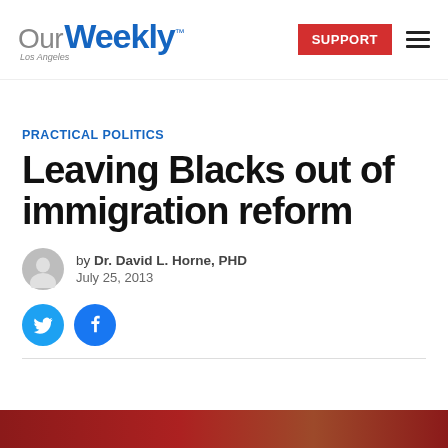Our Weekly Los Angeles — SUPPORT
PRACTICAL POLITICS
Leaving Blacks out of immigration reform
by Dr. David L. Horne, PHD
July 25, 2013
[Figure (illustration): Twitter and Facebook social share buttons (circular, blue)]
[Figure (photo): Partial image strip at bottom of page, dark red/brown tones]